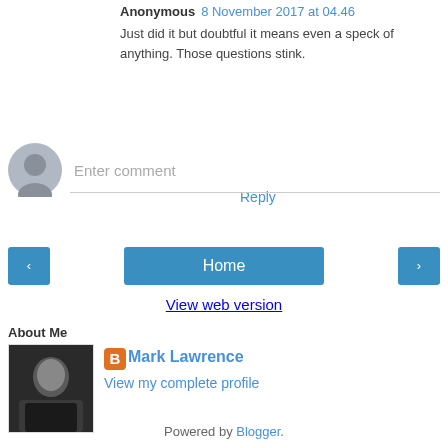Anonymous 8 November 2017 at 04.46
Just did it but doubtful it means even a speck of anything. Those questions stink.
Reply
[Figure (other): Default user avatar icon (grey silhouette)]
Enter comment
< (navigation arrow button)
Home (navigation button)
> (navigation arrow button)
View web version
About Me
[Figure (photo): Photo of Mark Lawrence, a man in a black shirt with arms crossed, dark background]
[Figure (logo): Blogger orange B logo icon]
Mark Lawrence
View my complete profile
Powered by Blogger.